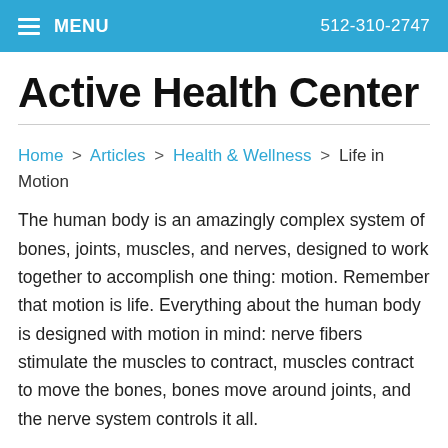MENU  512-310-2747
Active Health Center
Home > Articles > Health & Wellness > Life in Motion
The human body is an amazingly complex system of bones, joints, muscles, and nerves, designed to work together to accomplish one thing: motion. Remember that motion is life. Everything about the human body is designed with motion in mind: nerve fibers stimulate the muscles to contract, muscles contract to move the bones, bones move around joints, and the nerve system controls it all.